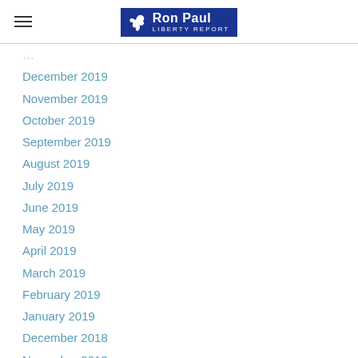Ron Paul Liberty Report
December 2019
November 2019
October 2019
September 2019
August 2019
July 2019
June 2019
May 2019
April 2019
March 2019
February 2019
January 2019
December 2018
November 2018
October 2018
September 2018
August 2018